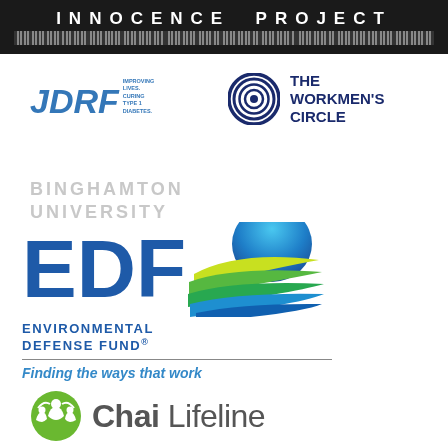[Figure (logo): Innocence Project logo — white text on dark background with barcode stripe]
[Figure (logo): JDRF logo — blue italic letters with tagline 'Improving Lives. Curing Type 1 Diabetes.']
[Figure (logo): The Workmen's Circle logo — concentric circles target icon with bold navy text]
[Figure (logo): Binghamton University watermark text in light gray]
[Figure (logo): EDF Environmental Defense Fund logo with swoosh graphic and tagline 'Finding the ways that work']
[Figure (logo): Chai Lifeline logo with green circular people icon and gray text]